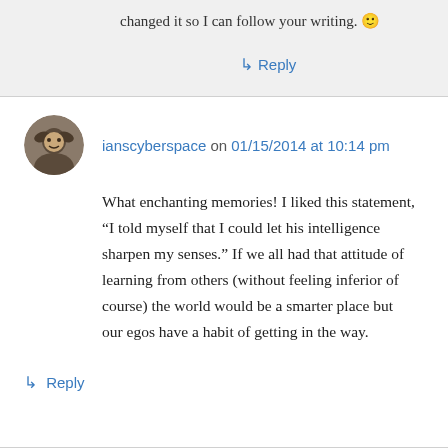changed it so I can follow your writing. 🙂
↳ Reply
ianscyberspace on 01/15/2014 at 10:14 pm
What enchanting memories! I liked this statement, “I told myself that I could let his intelligence sharpen my senses.” If we all had that attitude of learning from others (without feeling inferior of course) the world would be a smarter place but our egos have a habit of getting in the way.
↳ Reply